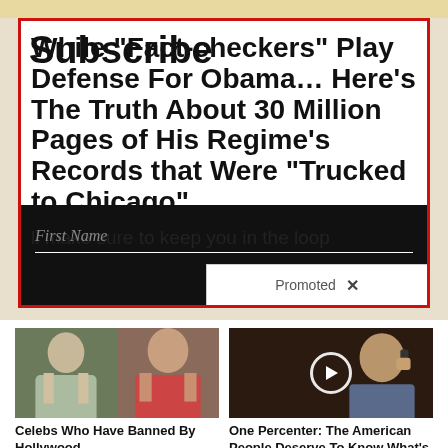Subscribe
While “Fact-checkers” Play Defense For Obama… Here’s The Truth About 30 Million Pages of His Regime’s Records that Were “Trucked to Chicago”
ll make sure to keep you in the loop
First Name
Promoted ×
Celebs Who Have Banned By Hollywood
🔥 1,490
One Percenter: The American People Deserve To Know What’s Next
🔥 145